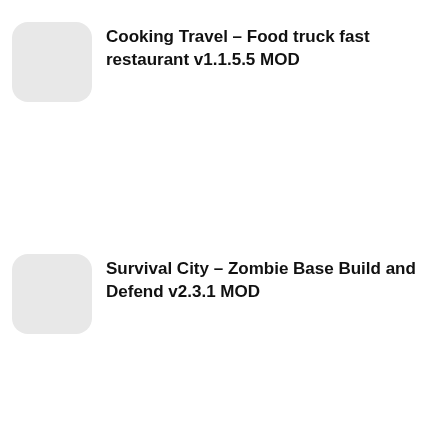Cooking Travel – Food truck fast restaurant v1.1.5.5 MOD
Survival City – Zombie Base Build and Defend v2.3.1 MOD
[Figure (illustration): App icon for Sci-Fi Tower Defense Module TD — a robot/mech warrior figure with glowing blue energy beams against a dark sci-fi background]
Sci-Fi Tower Defense Module TD v1.94 MOD ( UNLIMITED TOWER )